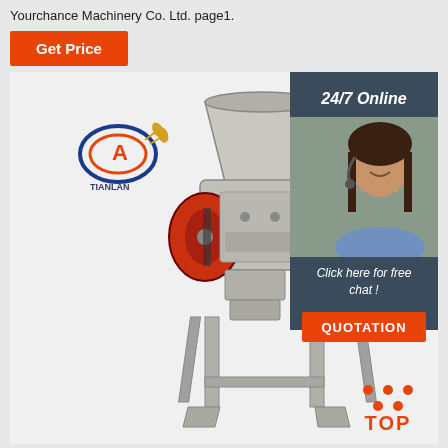Yourchance Machinery Co. Ltd. page1.
Get Price
[Figure (photo): Industrial grain milling/processing machine with hopper on top, red belt drive, and metal frame stand. Company logo 'TIANLAN' with 'A' emblem top left. Overlay panel: '24/7 Online' with customer service representative photo, 'Click here for free chat!', 'QUOTATION' button, and 'TOP' badge at bottom right.]
Combine Harvester - Combine Harvester Suppliers Buyers ...